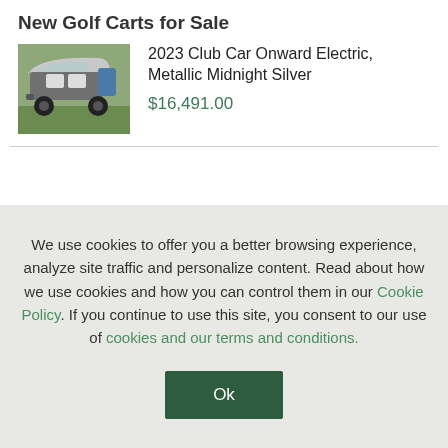New Golf Carts for Sale
[Figure (photo): Photo of a 2023 Club Car Onward Electric golf cart in Metallic Midnight Silver color, parked on grass]
2023 Club Car Onward Electric, Metallic Midnight Silver
$16,491.00
We use cookies to offer you a better browsing experience, analyze site traffic and personalize content. Read about how we use cookies and how you can control them in our Cookie Policy. If you continue to use this site, you consent to our use of cookies and our terms and conditions.